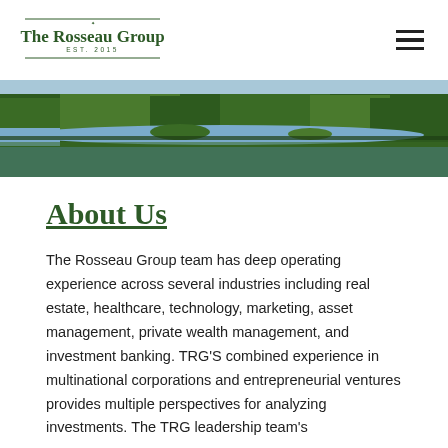The Rosseau Group EST. 2015
[Figure (photo): Aerial view of a river winding through dense green forest with islands of trees reflecting in the water]
About Us
The Rosseau Group team has deep operating experience across several industries including real estate, healthcare, technology, marketing, asset management, private wealth management, and investment banking. TRG'S combined experience in multinational corporations and entrepreneurial ventures provides multiple perspectives for analyzing investments. The TRG leadership team's